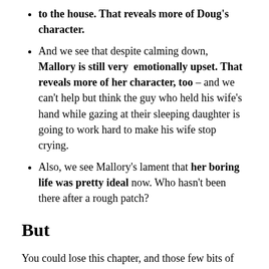to the house. That reveals more of Doug's character.
And we see that despite calming down, Mallory is still very emotionally upset. That reveals more of her character, too – and we can't help but think the guy who held his wife's hand while gazing at their sleeping daughter is going to work hard to make his wife stop crying.
Also, we see Mallory's lament that her boring life was pretty ideal now. Who hasn't been there after a rough patch?
But
You could lose this chapter, and those few bits of info could be folded in somewhere else. So if we find ourselves running long when we're finished, that's a